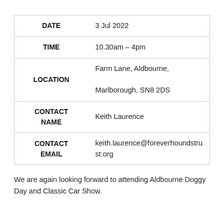| Field | Value |
| --- | --- |
| DATE | 3 Jul 2022 |
| TIME | 10.30am – 4pm |
| LOCATION | Farm Lane, Aldbourne, Marlborough, SN8 2DS |
| CONTACT NAME | Keith Laurence |
| CONTACT EMAIL | keith.laurence@foreverhoundstrust.org |
We are again looking forward to attending Aldbourne Doggy Day and Classic Car Show.